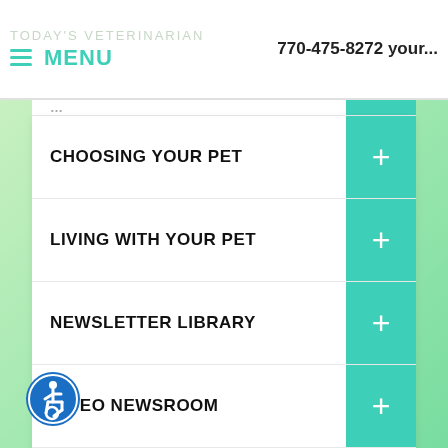TODAY'S VETERINARIAN  MENU  770-475-8272 your...
CHOOSING YOUR PET
LIVING WITH YOUR PET
NEWSLETTER LIBRARY
VIDEO NEWSROOM
CLIENT SURVEY
PETS4KIDS
[Figure (logo): Accessibility icon - blue circle with wheelchair symbol]